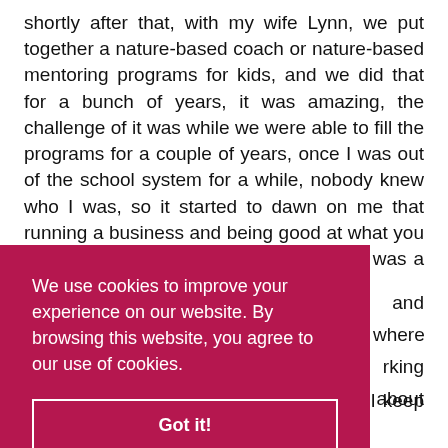shortly after that, with my wife Lynn, we put together a nature-based coach or nature-based mentoring programs for kids, and we did that for a bunch of years, it was amazing, the challenge of it was while we were able to fill the programs for a couple of years, once I was out of the school system for a while, nobody knew who I was, so it started to dawn on me that running a business and being good at what you do are different, and I don't know why it was a surprise to me, but it was... And [partially obscured] and [partially obscured] where [partially obscured] rking [partially obscured] about
We use cookies to improve your experience on our website. By browsing this website, you agree to our use of cookies.
Got it!
n and mentor people, and just over the years, I keep and